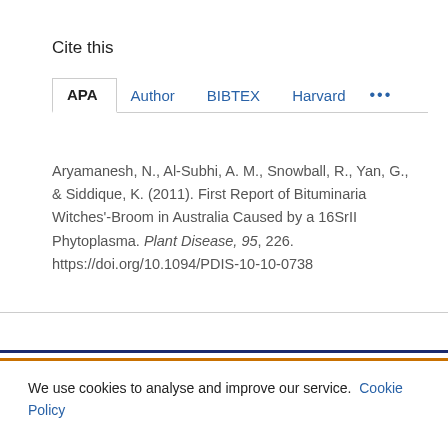Cite this
APA   Author   BIBTEX   Harvard  ...
Aryamanesh, N., Al-Subhi, A. M., Snowball, R., Yan, G., & Siddique, K. (2011). First Report of Bituminaria Witches'-Broom in Australia Caused by a 16SrII Phytoplasma. Plant Disease, 95, 226. https://doi.org/10.1094/PDIS-10-10-0738
We use cookies to analyse and improve our service. Cookie Policy